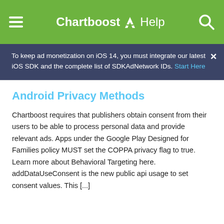Chartboost Help
To keep ad monetization on iOS 14, you must integrate our latest iOS SDK and the complete list of SDKAdNetwork IDs. Start Here
Android Privacy Methods
Chartboost requires that publishers obtain consent from their users to be able to process personal data and provide relevant ads. Apps under the Google Play Designed for Families policy MUST set the COPPA privacy flag to true. Learn more about Behavioral Targeting here. addDataUseConsent is the new public api usage to set consent values. This [...]